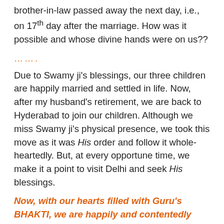brother-in-law passed away the next day, i.e., on 17th day after the marriage. How was it possible and whose divine hands were on us??
.......
Due to Swamy ji's blessings, our three children are happily married and settled in life. Now, after my husband's retirement, we are back to Hyderabad to join our children. Although we miss Swamy ji's physical presence, we took this move as it was His order and follow it whole-heartedly. But, at every opportune time, we make it a point to visit Delhi and seek His blessings.
Now, with our hearts filled with Guru's BHAKTI, we are happily and contentedly proceeding on the path of spiritualism.